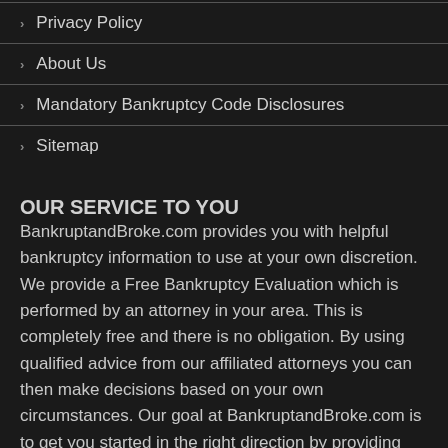Privacy Policy
About Us
Mandatory Bankruptcy Code Disclosures
Sitemap
OUR SERVICE TO YOU
BankruptandBroke.com provides you with helpful bankruptcy information to use at your own discretion. We provide a Free Bankruptcy Evaluation which is performed by an attorney in your area. This is completely free and there is no obligation. By using qualified advice from our affiliated attorneys you can then make decisions based on your own circumstances. Our goal at BankruptandBroke.com is to get you started in the right direction by providing